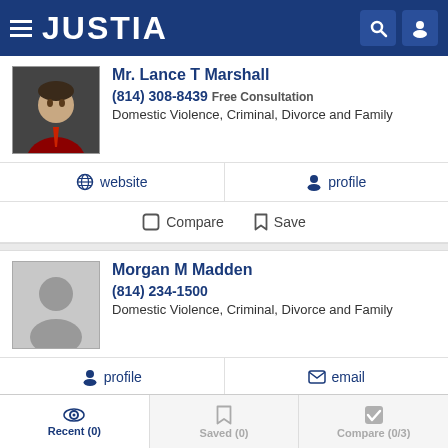JUSTIA
Mr. Lance T Marshall
(814) 308-8439 Free Consultation
Domestic Violence, Criminal, Divorce and Family
website  profile
Compare  Save
Morgan M Madden
(814) 234-1500
Domestic Violence, Criminal, Divorce and Family
profile  email
Compare  Save
Recent (0)   Saved (0)   Compare (0/3)